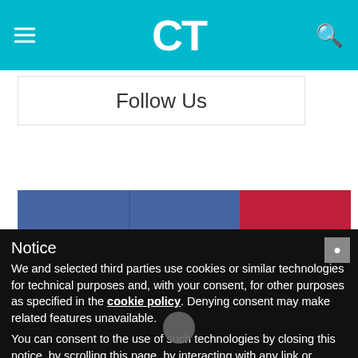CT (logo)
Follow Us
[Figure (infographic): Social media follow counts grid: Facebook 5,448 Fans; Instagram 1,300 Followers; Pinterest 19,568 Followers; RSS, Twitter, and another platform partially visible in bottom row]
Notice
We and selected third parties use cookies or similar technologies for technical purposes and, with your consent, for other purposes as specified in the cookie policy. Denying consent may make related features unavailable.
You can consent to the use of such technologies by closing this notice, by scrolling this page, by interacting with any link or button outside of this notice or by continuing to browse otherwise.